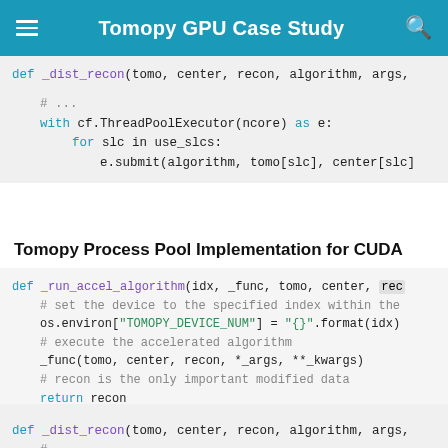Tomopy GPU Case Study
def _dist_recon(tomo, center, recon, algorithm, args,
    # ...
    with cf.ThreadPoolExecutor(ncore) as e:
        for slc in use_slcs:
            e.submit(algorithm, tomo[slc], center[slc]
Tomopy Process Pool Implementation for CUDA
def _run_accel_algorithm(idx, _func, tomo, center, rec
    # set the device to the specified index within the
    os.environ["TOMOPY_DEVICE_NUM"] = "{}".format(idx)
    # execute the accelerated algorithm
    _func(tomo, center, recon, *_args, **_kwargs)
    # recon is the only important modified data
    return recon
def _dist_recon(tomo, center, recon, algorithm, args,
    # ...